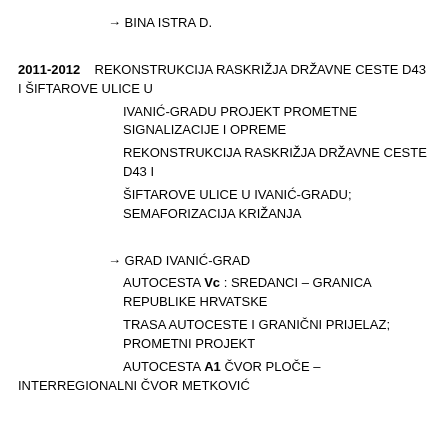→ BINA ISTRA D.
2011-2012   REKONSTRUKCIJA RASKRIŽJA DRŽAVNE CESTE D43 I ŠIFTAROVE ULICE U
IVANIĆ-GRADU PROJEKT PROMETNE SIGNALIZACIJE I OPREME
REKONSTRUKCIJA RASKRIŽJA DRŽAVNE CESTE D43 I
ŠIFTAROVE ULICE U IVANIĆ-GRADU; SEMAFORIZACIJA KRIŽANJA
→ GRAD IVANIĆ-GRAD
AUTOCESTA Vc : SREDANCI – GRANICA REPUBLIKE HRVATSKE
TRASA AUTOCESTE I GRANIČNI PRIJELAZ; PROMETNI PROJEKT
AUTOCESTA A1 ČVOR PLOČE – INTERREGIONALNI ČVOR METKOVIĆ